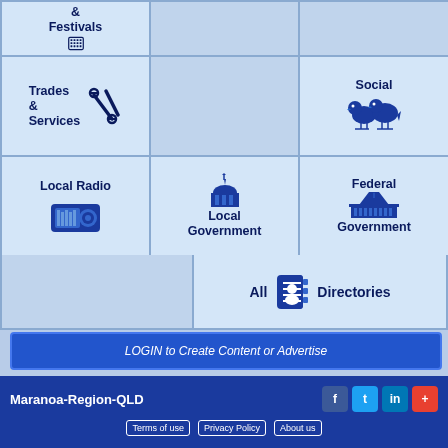[Figure (screenshot): Navigation tile grid for Maranoa-Region-QLD website showing categories: Festivals, Trades & Services, Social, Local Radio, Local Government, Federal Government, All Directories, with login bar and footer]
& Festivals
Trades & Services
Social
Local Radio
Local Government
Federal Government
All Directories
LOGIN to Create Content or Advertise
Maranoa-Region-QLD
Terms of use
Privacy Policy
About us